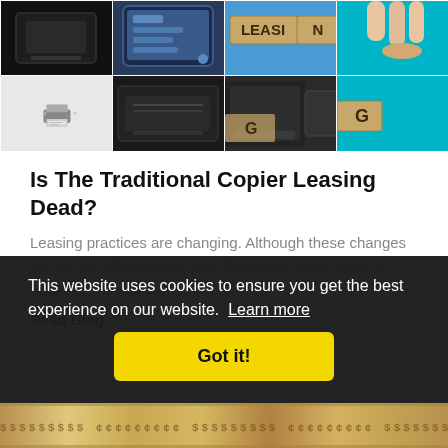[Figure (photo): 2x4 grid collage of images showing copiers, printers, a 'LEASING' wooden tile sign on blue background, fingers holding coins, printer icon, printer interior, and teal/blue background]
Is The Traditional Copier Leasing Dead?
Leasing practices are changing.  Although these changes will not be fully effective until December 15th, 2018 for public entities and
Read Blog →
This website uses cookies to ensure you get the best experience on our website.  Learn more
Got it!
[Figure (photo): Bottom strip showing currency/money pattern]